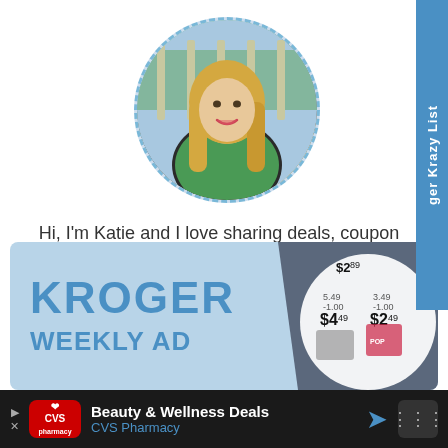[Figure (photo): Circular dashed-border profile photo of a blonde woman in a green jacket outdoors]
Hi, I'm Katie and I love sharing deals, coupon matchups, and all things Kroger to save you money on what your family needs most.
[Figure (screenshot): Kroger Weekly Ad promotional banner showing KROGER and WEEKLY AD text with grocery sale prices including $4.49 and $2.49 items]
Beauty & Wellness Deals CVS Pharmacy